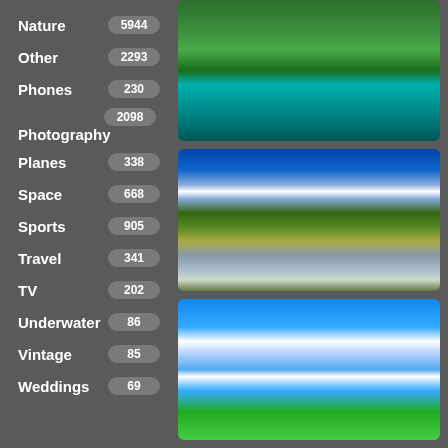Nature 5944
Other 2293
Phones 230
Photography 2098
Planes 338
Space 668
Sports 905
Travel 341
TV 202
Underwater 86
Vintage 85
Weddings 69
[Figure (photo): Waterfall scene with turquoise water and green trees]
[Figure (photo): Mountain landscape with blue sky, white clouds, green forest and reflective lake]
[Figure (photo): Blue sky with clouds, green fields and large house with red roof]